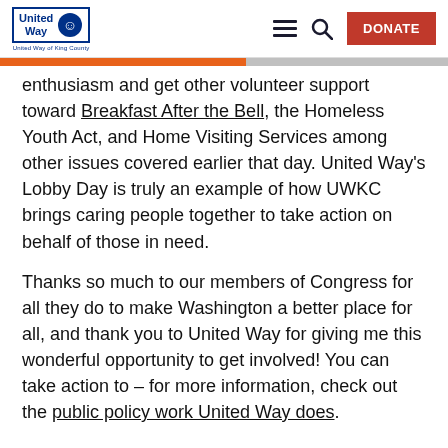United Way of King County — navigation header with DONATE button
enthusiasm and get other volunteer support toward Breakfast After the Bell, the Homeless Youth Act, and Home Visiting Services among other issues covered earlier that day. United Way's Lobby Day is truly an example of how UWKC brings caring people together to take action on behalf of those in need.
Thanks so much to our members of Congress for all they do to make Washington a better place for all, and thank you to United Way for giving me this wonderful opportunity to get involved! You can take action to – for more information, check out the public policy work United Way does.